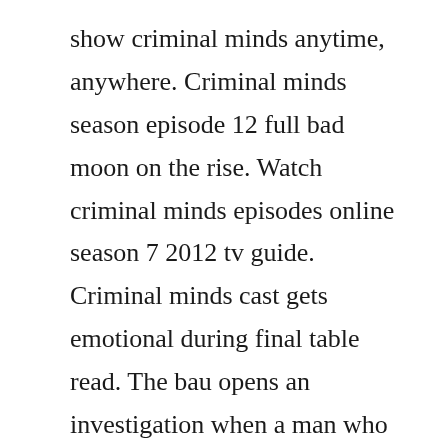show criminal minds anytime, anywhere. Criminal minds season episode 12 full bad moon on the rise. Watch criminal minds episodes online season 7 2012 tv guide. Criminal minds cast gets emotional during final table read. The bau opens an investigation when a man who fully believes he is dr. It will also give more time to focus on the actual criminal minds of the title. Criminal minds season 7 episode 24 watch online free. A serial rapist in houston known as the piano man resurfaces and assaults his previous victims. When the bau team travels